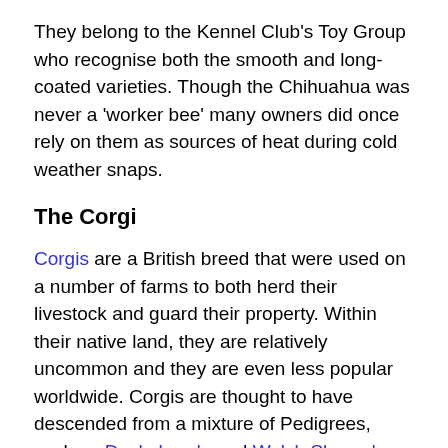They belong to the Kennel Club's Toy Group who recognise both the smooth and long-coated varieties. Though the Chihuahua was never a 'worker bee' many owners did once rely on them as sources of heat during cold weather snaps.
The Corgi
Corgis are a British breed that were used on a number of farms to both herd their livestock and guard their property. Within their native land, they are relatively uncommon and they are even less popular worldwide. Corgis are thought to have descended from a mixture of Pedigrees, such as Dachshunds and Welsh Sheepdogs.
Due to their obedient nature and relative athleticism, they can make adequate competitors in canine sports, such as Flyball and Agility today. However, their short and stubby limbs do not lend themselves to sprinting for long...